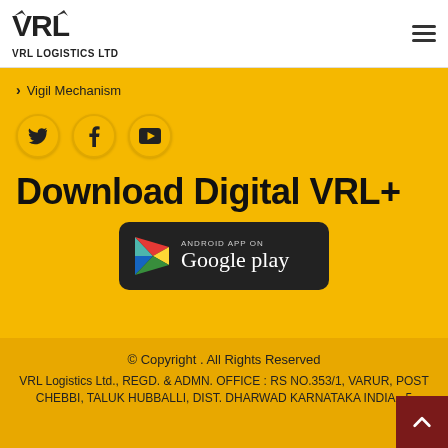VRL LOGISTICS LTD
> Vigil Mechanism
[Figure (logo): Social media icons: Twitter, Facebook, YouTube — circular yellow buttons with icons]
Download Digital VRL+
[Figure (logo): Google Play Store badge — dark rounded rectangle with Play triangle logo and text 'ANDROID APP ON Google play']
© Copyright . All Rights Reserved
VRL Logistics Ltd., REGD. & ADMN. OFFICE : RS NO.353/1, VARUR, POST CHEBBI, TALUK HUBBALLI, DIST. DHARWAD KARNATAKA INDIA - 5